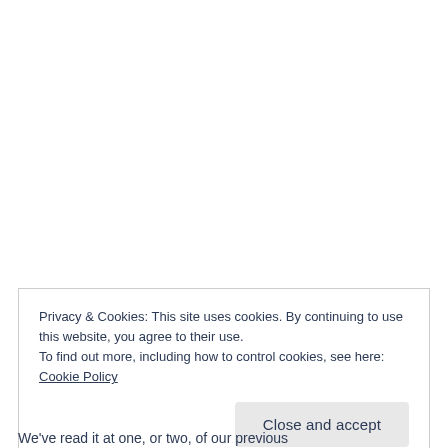Privacy & Cookies: This site uses cookies. By continuing to use this website, you agree to their use.
To find out more, including how to control cookies, see here: Cookie Policy
Close and accept
We've read it at one, or two, of our previous